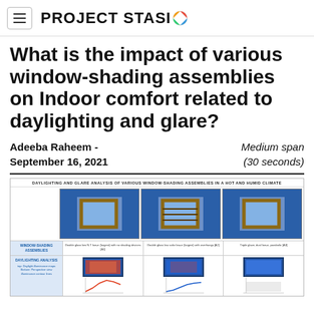PROJECT STASIO
What is the impact of various window-shading assemblies on Indoor comfort related to daylighting and glare?
Adeeba Raheem - September 16, 2021
Medium span (30 seconds)
[Figure (infographic): Daylighting and glare analysis of various window-shading assemblies in a hot and humid climate. Shows 3D models of three window-shading assemblies and daylighting analysis charts below.]